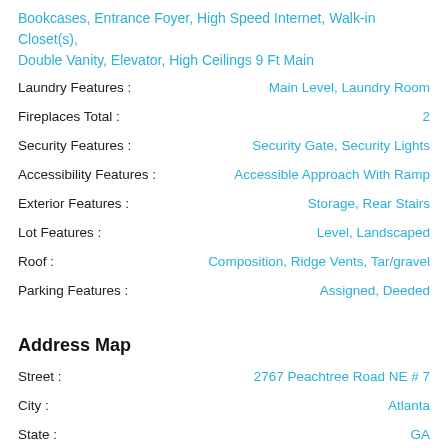Bookcases, Entrance Foyer, High Speed Internet, Walk-in Closet(s), Double Vanity, Elevator, High Ceilings 9 Ft Main
Laundry Features : Main Level, Laundry Room
Fireplaces Total : 2
Security Features : Security Gate, Security Lights
Accessibility Features : Accessible Approach With Ramp
Exterior Features : Storage, Rear Stairs
Lot Features : Level, Landscaped
Roof : Composition, Ridge Vents, Tar/gravel
Parking Features : Assigned, Deeded
Address Map
Street : 2767 Peachtree Road NE # 7
City : Atlanta
State : GA
Zipcode : 30305